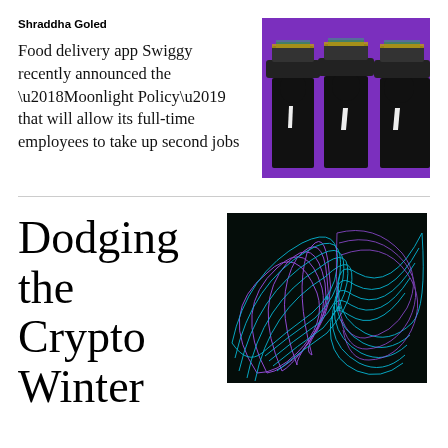Shraddha Goled
Food delivery app Swiggy recently announced the ‘Moonlight Policy’ that will allow its full-time employees to take up second jobs
[Figure (illustration): Illustration of three figures in suits and ties wearing large hats on a purple background]
[Figure (photo): Dark background with glowing cyan and purple geometric spiral/vortex patterns]
Dodging the Crypto Winter